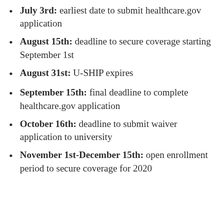July 3rd: earliest date to submit healthcare.gov application
August 15th: deadline to secure coverage starting September 1st
August 31st: U-SHIP expires
September 15th: final deadline to complete healthcare.gov application
October 16th: deadline to submit waiver application to university
November 1st-December 15th: open enrollment period to secure coverage for 2020